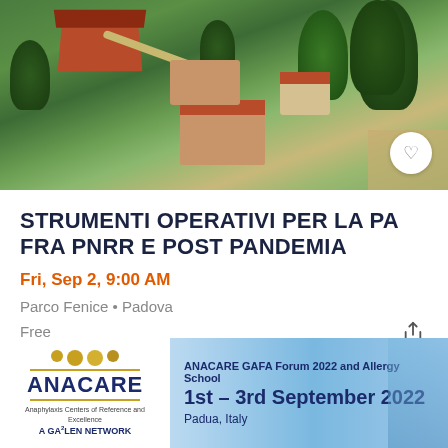[Figure (photo): Aerial view of Parco Fenice, Padova — showing buildings with red/terracotta roofs, green lawns, trees, and pathways]
STRUMENTI OPERATIVI PER LA PA FRA PNRR E POST PANDEMIA
Fri, Sep 2, 9:00 AM
Parco Fenice • Padova
Free
[Figure (infographic): ANACARE advertisement banner: ANACARE GAFA Forum 2022 and Allergy School, 1st – 3rd September 2022, Padua, Italy. ANACARE logo with Anaphylaxis Centers of Reference and Excellence – A GA2LEN NETWORK.]